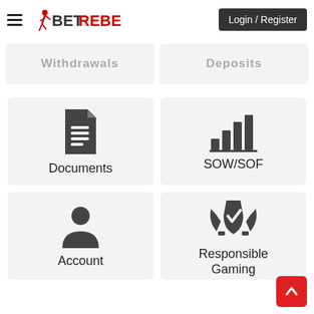BetRebels — Login / Register
Withdrawals
Deposits
[Figure (screenshot): Documents menu card with document icon]
Documents
[Figure (screenshot): SOW/SOF menu card with bar chart icon]
SOW/SOF
[Figure (screenshot): Account menu card with person/user icon]
Account
[Figure (screenshot): Responsible Gaming menu card with hands holding shield icon]
Responsible Gaming